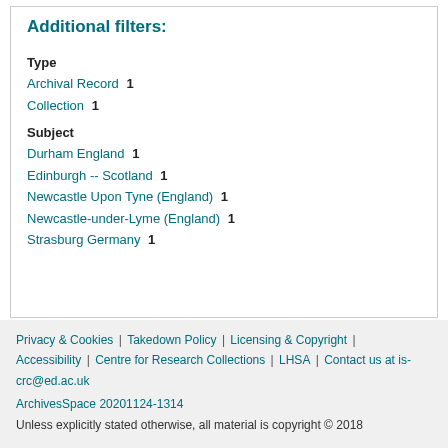Additional filters:
Type
Archival Record  1
Collection  1
Subject
Durham England  1
Edinburgh -- Scotland  1
Newcastle Upon Tyne (England)  1
Newcastle-under-Lyme (England)  1
Strasburg Germany  1
Privacy & Cookies | Takedown Policy | Licensing & Copyright | Accessibility | Centre for Research Collections | LHSA | Contact us at is-crc@ed.ac.uk
ArchivesSpace 20201124-1314
Unless explicitly stated otherwise, all material is copyright © 2018